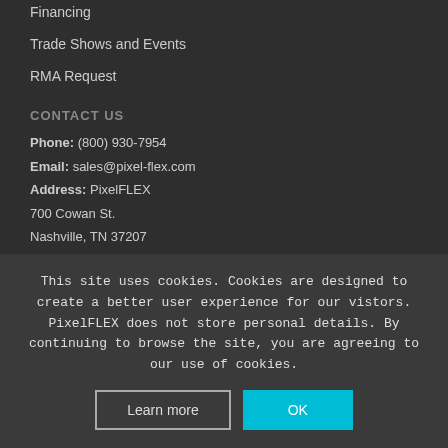Financing
Trade Shows and Events
RMA Request
CONTACT US
Phone: (800) 930-7954
Email: sales@pixel-flex.com
Address: PixelFLEX
700 Cowan St.
Nashville, TN 37207
This site uses cookies. Cookies are designed to create a better user experience for our vistors. PixelFLEX does not store personal details. By continuing to browse the site, you are agreeing to our use of cookies.
Learn more
OK